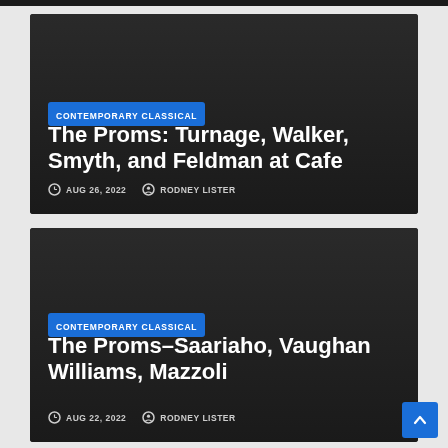[Figure (screenshot): Article card with dark background for 'The Proms: Turnage, Walker, Smyth, and Feldman at Cafe', tagged CONTEMPORARY CLASSICAL, dated AUG 26, 2022, by RODNEY LISTER]
The Proms: Turnage, Walker, Smyth, and Feldman at Cafe
AUG 26, 2022   RODNEY LISTER
[Figure (screenshot): Article card with dark background for 'The Proms–Saariaho, Vaughan Williams, Mazzoli', tagged CONTEMPORARY CLASSICAL, dated AUG 22, 2022, by RODNEY LISTER]
The Proms–Saariaho, Vaughan Williams, Mazzoli
AUG 22, 2022   RODNEY LISTER